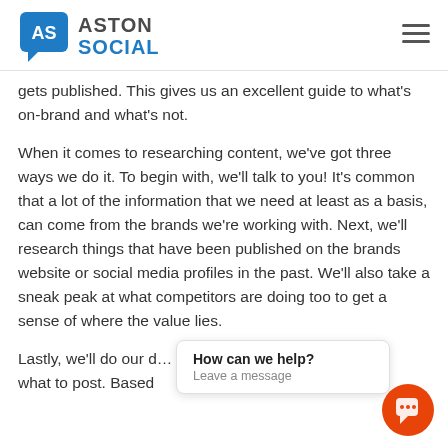ASTON SOCIAL
gets published. This gives us an excellent guide to what’s on-brand and what’s not.
When it comes to researching content, we’ve got three ways we do it. To begin with, we’ll talk to you! It’s common that a lot of the information that we need at least as a basis, can come from the brands we’re working with. Next, we’ll research things that have been published on the brands website or social media profiles in the past. We’ll also take a sneak peak at what competitors are doing too to get a sense of where the value lies.
Lastly, we’ll do our d… what to post. Based… with…
[Figure (screenshot): Chat popup widget with text 'How can we help? Leave a message' and an orange circular chat button in the bottom right corner.]